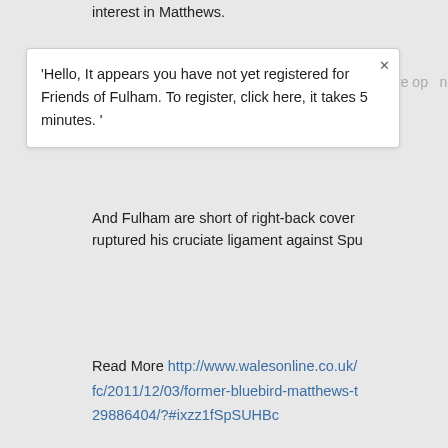interest in Matthews.
'Hello, It appears you have not yet registered for Friends of Fulham. To register, click here, it takes 5 minutes. '
And Fulham are short of right-back cover ruptured his cruciate ligament against Sp...
Read More http://www.walesonline.co.uk/fc/2011/12/03/former-bluebird-matthews-t-29886404/?#ixzz1fSpSUHBc
whitejc
Administrator
Mornington Crescent
Re: Saturday Fulham Stuff (03/112/11)...
« Reply #32 on: December 03, 2011, 11:56:19 A
Why Liverpool will prove too
Kenny Dalglish's Reds can enjoy yet anoth Monday.